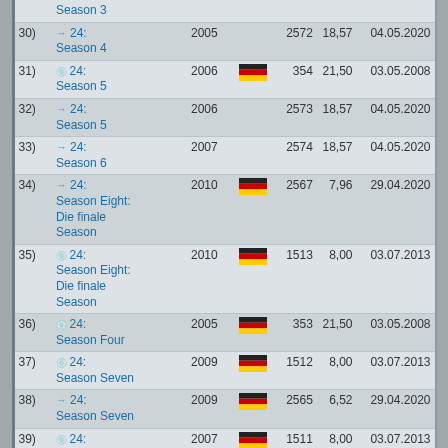| # | Title | Year | Flag | Count | Rating | Date |
| --- | --- | --- | --- | --- | --- | --- |
| 30) | 24: Season 4 | 2005 |  | 2572 | 18,57 | 04.05.2020 |
| 31) | 24: Season 5 | 2006 | DE | 354 | 21,50 | 03.05.2008 |
| 32) | 24: Season 5 | 2006 |  | 2573 | 18,57 | 04.05.2020 |
| 33) | 24: Season 6 | 2007 |  | 2574 | 18,57 | 04.05.2020 |
| 34) | 24: Season Eight: Die finale Season | 2010 | DE | 2567 | 7,96 | 29.04.2020 |
| 35) | 24: Season Eight: Die finale Season | 2010 | DE | 1513 | 8,00 | 03.07.2013 |
| 36) | 24: Season Four | 2005 | DE | 353 | 21,50 | 03.05.2008 |
| 37) | 24: Season Seven | 2009 | DE | 1512 | 8,00 | 03.07.2013 |
| 38) | 24: Season Seven | 2009 | DE | 2565 | 6,52 | 29.04.2020 |
| 39) | 24: Season Six | 2007 | DE | 1511 | 8,00 | 03.07.2013 |
| 40) | 3 Engel für Charlie | 2000 | DE | 3102 | 5,00 | 23.04.2022 |
| 41) | 3 Engel für Charlie: Volle Power | 2003 | DE | 1743 | 6,67 | 09.03.2015 |
| 42) | 3-Way | 2004 | DE | 1019 | 5,00 | 12.09.2010 |